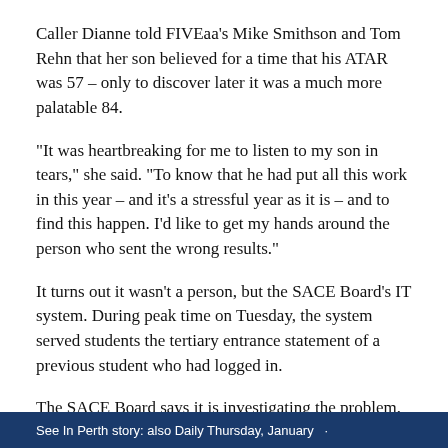Caller Dianne told FIVEaa's Mike Smithson and Tom Rehn that her son believed for a time that his ATAR was 57 – only to discover later it was a much more palatable 84.
“It was heartbreaking for me to listen to my son in tears,” she said. “To know that he had put all this work in this year – and it’s a stressful year as it is – and to find this happen. I’d like to get my hands around the person who sent the wrong results.”
It turns out it wasn’t a person, but the SACE Board’s IT system. During peak time on Tuesday, the system served students the tertiary entrance statement of a previous student who had logged in.
The SACE Board says it is investigating the problem, but hasn’t yet been able to replicate the glitch.
See In Perth story: also Daily Thursday, January...